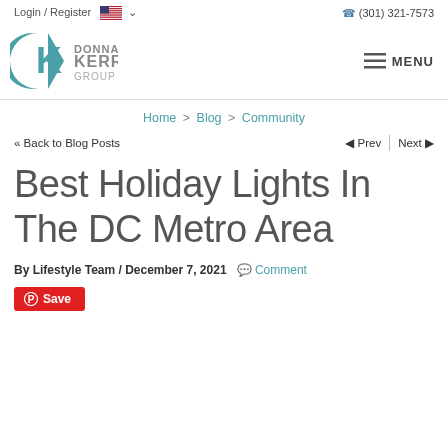Login / Register  (301) 321-7573
[Figure (logo): Donna Kerr Group logo with teal K emblem and MENU hamburger navigation]
Home > Blog > Community
<< Back to Blog Posts  Prev | Next
Best Holiday Lights In The DC Metro Area
By Lifestyle Team / December 7, 2021  Comment
Save